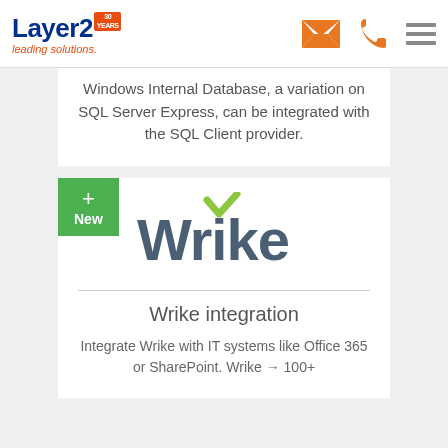[Figure (logo): Layer2 logo with '30 Years' badge and 'leading solutions.' tagline in orange]
[Figure (infographic): Navigation header icons: orange envelope, orange phone handset, orange hamburger menu]
Windows Internal Database, a variation on SQL Server Express, can be integrated with the SQL Client provider.
[Figure (logo): Green '+New' badge followed by Wrike logo with green checkmark]
Wrike integration
Integrate Wrike with IT systems like Office 365 or SharePoint. Wrike → 100+